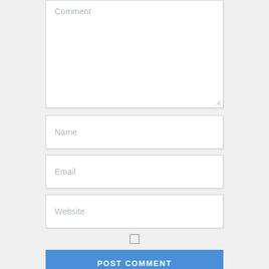[Figure (screenshot): Comment form with textarea labeled 'Comment', input fields for Name, Email, and Website, a checkbox, and a blue 'POST COMMENT' button]
Comment
Name
Email
Website
POST COMMENT